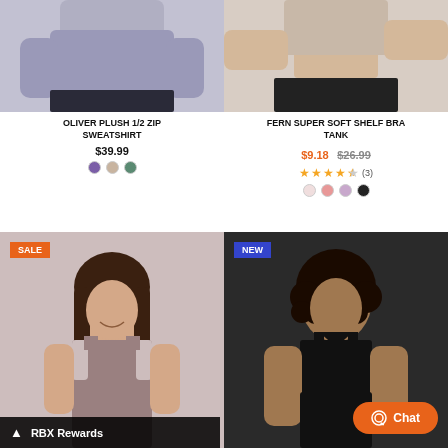[Figure (photo): Woman wearing a grey/purple Oliver Plush 1/2 Zip Sweatshirt, cropped view showing torso]
OLIVER PLUSH 1/2 ZIP SWEATSHIRT
$39.99
[Figure (photo): Woman wearing a beige Fern Super Soft Shelf Bra Tank, cropped view showing midriff]
FERN SUPER SOFT SHELF BRA TANK
$9.18  $26.99  ★★★★½ (3)
[Figure (photo): Woman wearing a mauve/dusty pink tank top, smiling, with SALE badge]
[Figure (photo): Woman wearing a black sports bra/tank, with NEW badge]
RBX Rewards
Chat